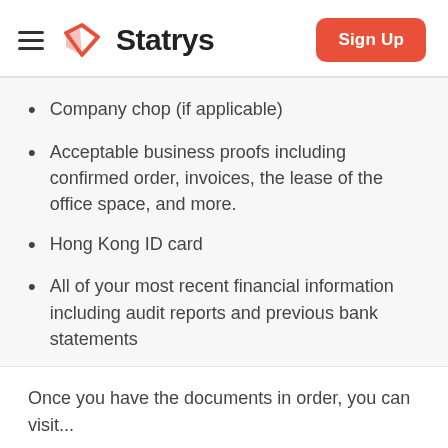Statrys
Company chop (if applicable)
Acceptable business proofs including confirmed order, invoices, the lease of the office space, and more.
Hong Kong ID card
All of your most recent financial information including audit reports and previous bank statements
Once you have the documents in order, you can visit...